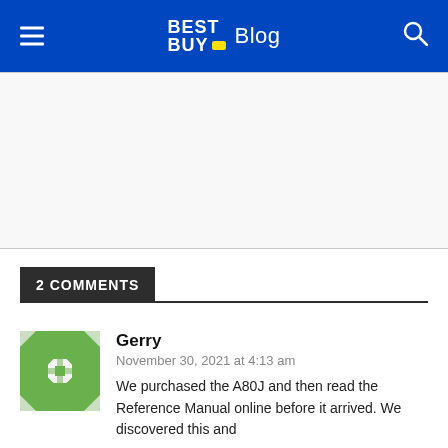BEST BUY Blog
[Figure (other): Advertisement/blank area between header and comments]
2 COMMENTS
Gerry
November 30, 2021 at 4:13 am
We purchased the A80J and then read the Reference Manual online before it arrived. We discovered this and...